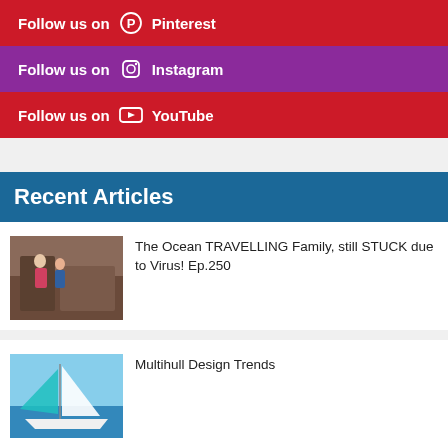Follow us on Pinterest
Follow us on Instagram
Follow us on YouTube
Recent Articles
[Figure (photo): Photo of a family inside a boat cabin]
The Ocean TRAVELLING Family, still STUCK due to Virus! Ep.250
[Figure (photo): Photo of a catamaran sailboat on the ocean]
Multihull Design Trends
[Figure (photo): Photo thumbnail with text 'The Crew Want to travel' showing people outdoors]
Finally getting off the dock in the bahamas